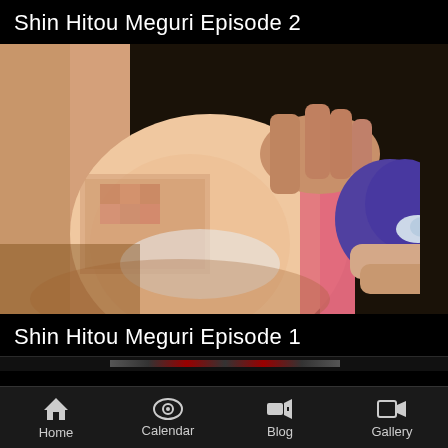Shin Hitou Meguri Episode 2
[Figure (screenshot): Anime screenshot thumbnail for Shin Hitou Meguri Episode 2, showing animated adult content blurred/pixelated]
Shin Hitou Meguri Episode 1
Home | Calendar | Blog | Gallery